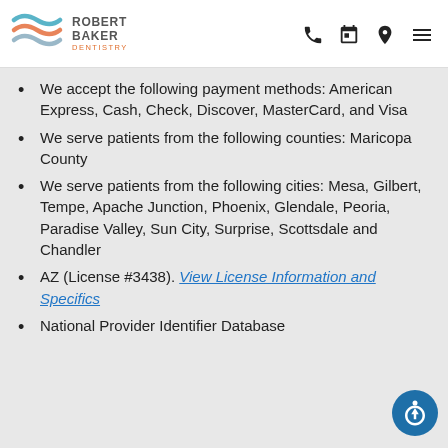Robert Baker Dentistry
We accept the following payment methods: American Express, Cash, Check, Discover, MasterCard, and Visa
We serve patients from the following counties: Maricopa County
We serve patients from the following cities: Mesa, Gilbert, Tempe, Apache Junction, Phoenix, Glendale, Peoria, Paradise Valley, Sun City, Surprise, Scottsdale and Chandler
AZ (License #3438). View License Information and Specifics
National Provider Identifier Database